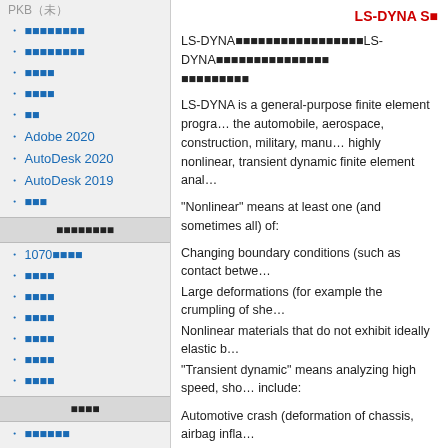PKB（未）
（アイテム）
（アイテム）
（アイテム）
（アイテム）
（アイテム）
Adobe 2020
AutoDesk 2020
AutoDesk 2019
（アイテム）
（セクションヘッダー）
1070（アイテム）
（アイテム）
（アイテム）
（アイテム）
（アイテム）
（アイテム）
（アイテム）
（セクション）
（アイテム）
（アイテム）
LS-DYNA S...
LS-DYNAの説明テキスト。LS-DYNAの追加テキスト。
LS-DYNA is a general-purpose finite element program capable of simulating complex real world problems. It is used by the automobile, aerospace, construction, military, manufacturing, and bioengineering industries. LS-DYNA is optimized for shared and distributed memory Unix, Linux, and Windows based platforms. Its origins lie in highly nonlinear, transient dynamic finite element analysis using explicit time integration.
"Nonlinear" means at least one (and sometimes all) of:
Changing boundary conditions (such as contact between parts)
Large deformations (for example the crumpling of sheet metal)
Nonlinear materials that do not exhibit ideally elastic behaviour
"Transient dynamic" means analyzing high speed, short duration events include:
Automotive crash (deformation of chassis, airbag inflation)
Explosions (underwater Naval mine, shaped charges)
Manufacturing (sheet metal stamping)
LS-DYNA's potential applications are numerous and can...
DYNA's many features can be combined to model...